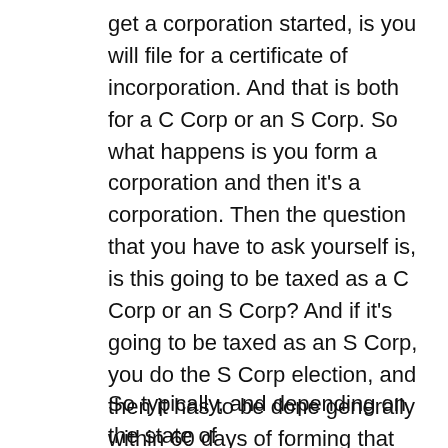get a corporation started, is you will file for a certificate of incorporation. And that is both for a C Corp or an S Corp. So what happens is you form a corporation and then it's a corporation. Then the question that you have to ask yourself is, is this going to be taxed as a C Corp or an S Corp? And if it's going to be taxed as an S Corp, you do the S Corp election, and then it has to be done generally within 60 days of forming that corporation. You can't wait on that.
So typically, and depending on the state of New, here it's called a certificate of